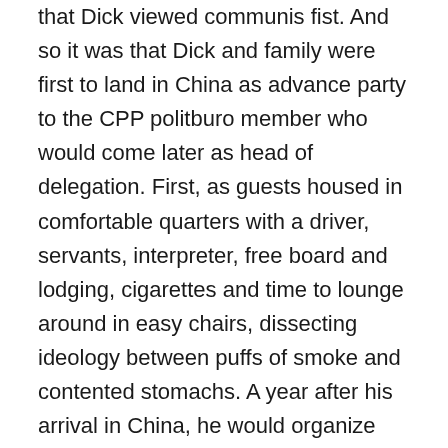that Dick viewed communis fist. And so it was that Dick and family were first to land in China as advance party to the CPP politburo member who would come later as head of delegation. First, as guests housed in comfortable quarters with a driver, servants, interpreter, free board and lodging, cigarettes and time to lounge around in easy chairs, dissecting ideology between puffs of smoke and contented stomachs. A year after his arrival in China, he would organize the failed MV Karagatan episode, where a Philippine-registered ship laden with M14 rifles, ammo, grenade launchers were supposed to be landed in a beach in Isabela, backstopped on land by defector Victor Corpuz from the Philippine Military Academy, tipped off, intercepted by Marcos military, most of the shipment intended for rebels falling in government hands, rebels empty-handed except for 200 of the 1,200 M14s intended for them, which they managed to spirit out.